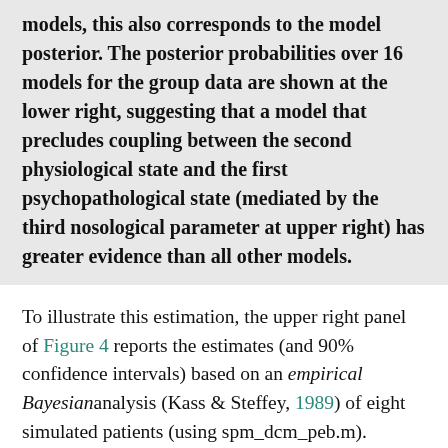models, this also corresponds to the model posterior. The posterior probabilities over 16 models for the group data are shown at the lower right, suggesting that a model that precludes coupling between the second physiological state and the first psychopathological state (mediated by the third nosological parameter at upper right) has greater evidence than all other models.
To illustrate this estimation, the upper right panel of Figure 4 reports the estimates (and 90% confidence intervals) based on an empirical Bayesian analysis (Kass & Steffey, 1989) of eight simulated patients (using spm_dcm_peb.m). Empirical Bayesian analysis refers to the hierarchical modeling of within- and between-subjects effects that may or may not be treated as random effects. In other words, empirical Bayes allows